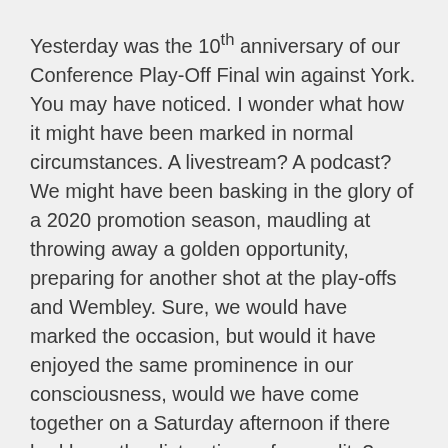Yesterday was the 10th anniversary of our Conference Play-Off Final win against York. You may have noticed. I wonder what how it might have been marked in normal circumstances. A livestream? A podcast? We might have been basking in the glory of a 2020 promotion season, maudling at throwing away a golden opportunity, preparing for another shot at the play-offs and Wembley. Sure, we would have marked the occasion, but would it have enjoyed the same prominence in our consciousness, would we have come together on a Saturday afternoon if there had been the distractions of normality?
There's an old joke about Sheffield FC, the world's oldest football club, about who they played when they were the first and only club around. The answer is obvious: themselves. Sheffield FC was a club in the